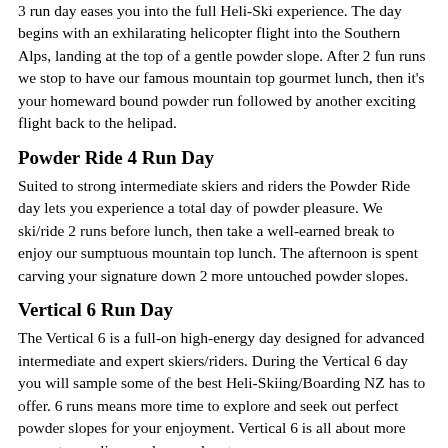3 run day eases you into the full Heli-Ski experience. The day begins with an exhilarating helicopter flight into the Southern Alps, landing at the top of a gentle powder slope. After 2 fun runs we stop to have our famous mountain top gourmet lunch, then it's your homeward bound powder run followed by another exciting flight back to the helipad.
Powder Ride 4 Run Day
Suited to strong intermediate skiers and riders the Powder Ride day lets you experience a total day of powder pleasure. We ski/ride 2 runs before lunch, then take a well-earned break to enjoy our sumptuous mountain top lunch. The afternoon is spent carving your signature down 2 more untouched powder slopes.
Vertical 6 Run Day
The Vertical 6 is a full-on high-energy day designed for advanced intermediate and expert skiers/riders. During the Vertical 6 day you will sample some of the best Heli-Skiing/Boarding NZ has to offer. 6 runs means more time to explore and seek out perfect powder slopes for your enjoyment. Vertical 6 is all about more runs, steeper lines and max adventure.
Xtra Vert 8 Run Day
Xtra Vert is the ultimate heli-ski day.